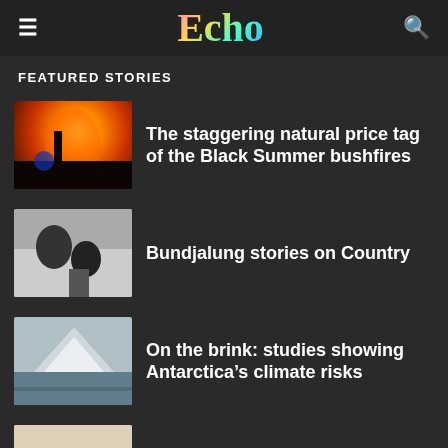Echo
FEATURED STORIES
The staggering natural price tag of the Black Summer bushfires
Bundjalung stories on Country
On the brink: studies showing Antarctica’s climate risks
Large Bruns DA ushered